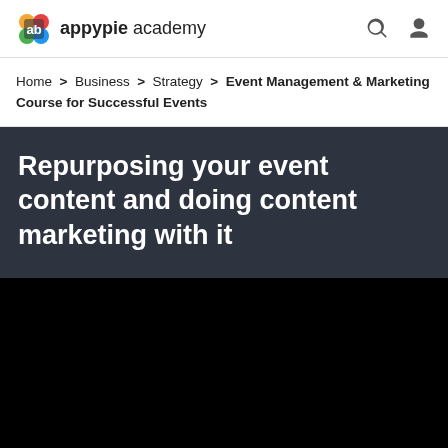appypie academy
Home > Business > Strategy > Event Management & Marketing Course for Successful Events
Repurposing your event content and doing content marketing with it
[Figure (other): Black video player area]